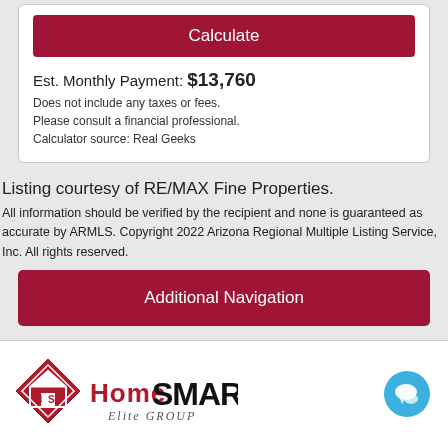[Figure (screenshot): Calculate button (dark red/crimson rounded rectangle button with white text)]
Est. Monthly Payment: $13,760
Does not include any taxes or fees.
Please consult a financial professional.
Calculator source: Real Geeks
Listing courtesy of RE/MAX Fine Properties.
All information should be verified by the recipient and none is guaranteed as accurate by ARMLS. Copyright 2022 Arizona Regional Multiple Listing Service, Inc. All rights reserved.
[Figure (screenshot): Additional Navigation button (dark red/crimson rounded rectangle button with white text)]
[Figure (logo): HomeSmart Elite Group logo with red diamond icon and stylized text]
[Figure (screenshot): Blue circular chat/messaging button icon in bottom right]